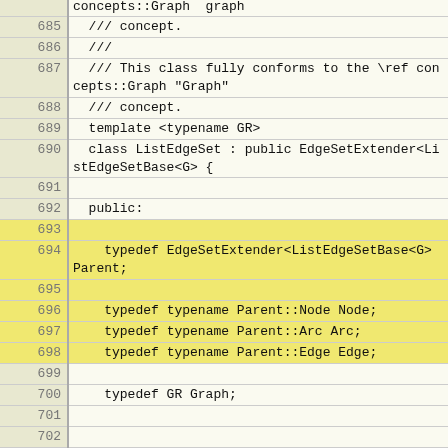[Figure (screenshot): Source code viewer showing C++ code lines 685-706 of a ListEdgeSet class implementation, with line numbers in a beige gutter on the left and code on a light yellow background. Lines include comments, template declaration, class definition inheriting from EdgeSetExtender, typedef declarations for Parent, Node, Arc, Edge, Graph, NodesImplBase, and a void eraseNode function.]